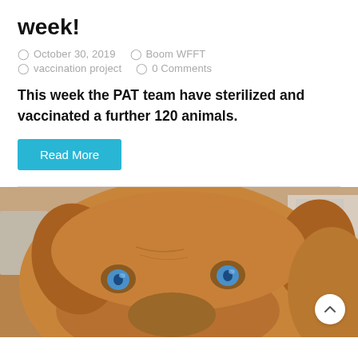week!
October 30, 2019   Boom WFFT   vaccination project   0 Comments
This week the PAT team have sterilized and vaccinated a further 120 animals.
Read More
[Figure (photo): Close-up photo of a brown dog with blue eyes looking at the camera]